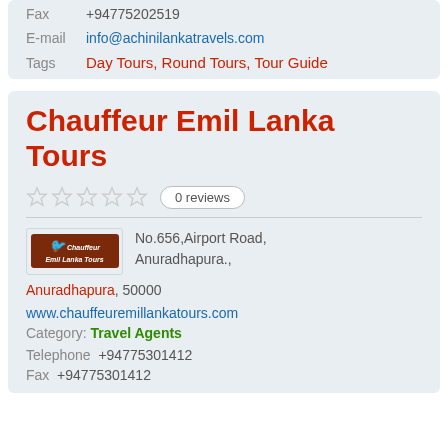Fax  +94775202519
E-mail  info@achinilankatravels.com
Tags  Day Tours, Round Tours, Tour Guide
Chauffeur Emil Lanka Tours
0 reviews
[Figure (logo): Chauffeur Emil Lanka Tours logo - dark red/brown background with bird icon and italic text]
No.656,Airport Road, Anuradhapura., Anuradhapura, 50000
www.chauffeuremillankatours.com
Category: Travel Agents
Telephone  +94775301412
Fax  +94775301412